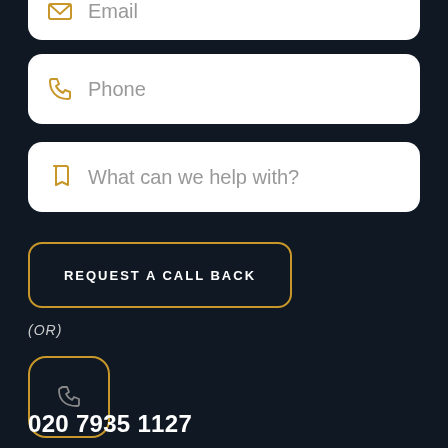[Figure (screenshot): Email input field (partially visible at top)]
[Figure (screenshot): Phone input field with gold phone icon]
[Figure (screenshot): What can we help with? input field with gold bookmark icon]
[Figure (screenshot): REQUEST A CALL BACK button with gold border on dark background]
(OR)
[Figure (screenshot): Square icon box with gold border and small phone/location icon inside]
020 7935 1127